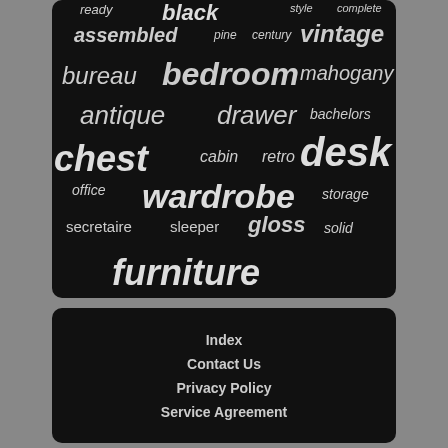[Figure (infographic): Word cloud on black background with furniture-related terms in varying sizes: ready, black, style, complete, assembled, pine, century, vintage, bureau, bedroom, mahogany, antique, drawer, bachelors, chest, cabin, retro, desk, office, wardrobe, storage, secretaire, sleeper, gloss, solid, furniture]
Index
Contact Us
Privacy Policy
Service Agreement